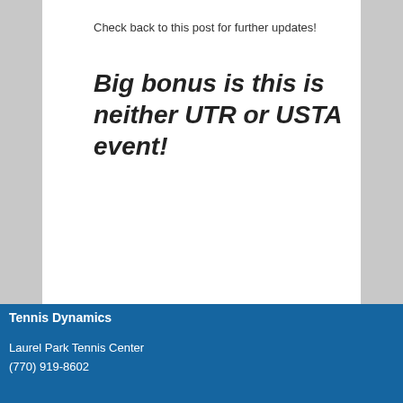Check back to this post for further updates!
Big bonus is this is neither UTR or USTA event!
« PREVIOUS
Tennis Dynamics
Laurel Park Tennis Center
(770) 919-8602